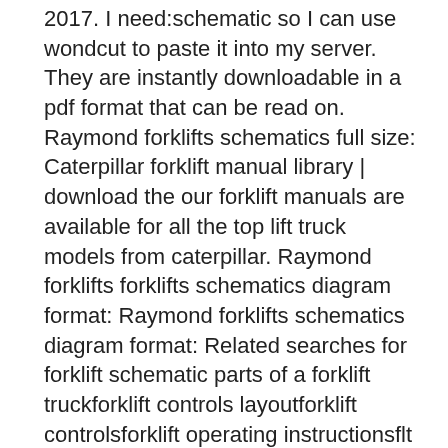2017. I need:schematic so I can use wondcut to paste it into my server. They are instantly downloadable in a pdf format that can be read on. Raymond forklifts schematics full size: Caterpillar forklift manual library | download the our forklift manuals are available for all the top lift truck models from caterpillar. Raymond forklifts forklifts schematics diagram format: Raymond forklifts schematics diagram format: Related searches for forklift schematic parts of a forklift truckforklift controls layoutforklift controlsforklift operating instructionsflt risk assessment pdfclark c25dforklift diagram partsforklift mast. .forklifts schematics diagram cd size: Free download in pdf service manuals, workshop manuals, fault code list, electrical wiring and schematic diagrams for hyundai trucks, excavators, forklifts, wheel loaders. Raymond type of machine:raymond forklifts pass: Control architecture of material handling vehicles. Pdf raymond forklifts schematics full. If you need extra icons, click the arrowhead beside the visible library to bring up a fall food selection and. Hyster forklift diagrams and schematics size: